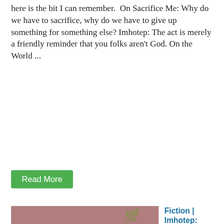here is the bit I can remember.  On Sacrifice Me: Why do we have to sacrifice, why do we have to give up something for something else? Imhotep: The act is merely a friendly reminder that you folks aren't God. On the World ...
Read More
[Figure (illustration): Book cover style image with mauve/dusty rose background, bold italic serif text reading 'Imhotep | Sayings III', subtitle 'A WORK OF FICTION', and URL 'BIFARINTHEFIFTH.COM'. A thin decorative vertical line and small leaf/branch motif are visible.]
Fiction | Imhotep: Sayings III
On
Coronavirus and Universities Me: Did you hear? Imhotep: Hear what? Me: That they are closing